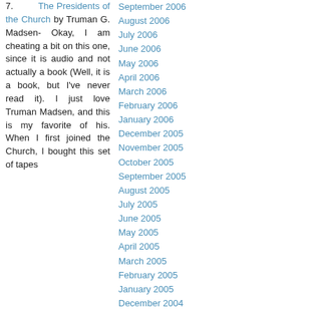7. The Presidents of the Church by Truman G. Madsen- Okay, I am cheating a bit on this one, since it is audio and not actually a book (Well, it is a book, but I've never read it). I just love Truman Madsen, and this is my favorite of his. When I first joined the Church, I bought this set of tapes
September 2006
August 2006
July 2006
June 2006
May 2006
April 2006
March 2006
February 2006
January 2006
December 2005
November 2005
October 2005
September 2005
August 2005
July 2005
June 2005
May 2005
April 2005
March 2005
February 2005
January 2005
December 2004
Meta:
Log in
RSS
Comments RSS
About:
Geoff J - posts
Kristen J - posts
Jacob (J) - posts
Blake - posts
Matt W - posts